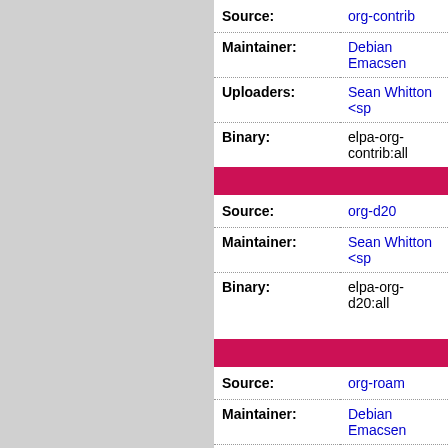| Field | Value |
| --- | --- |
| Source: | org-contrib |
| Maintainer: | Debian Emacsen |
| Uploaders: | Sean Whitton <sp |
| Binary: | elpa-org-contrib:all |
| Field | Value |
| --- | --- |
| Source: | org-d20 |
| Maintainer: | Sean Whitton <sp |
| Binary: | elpa-org-d20:all |
| Field | Value |
| --- | --- |
| Source: | org-roam |
| Maintainer: | Debian Emacsen |
| Uploaders: | Sean Whitton <sp |
| Binary: | elpa-org-roam:all |